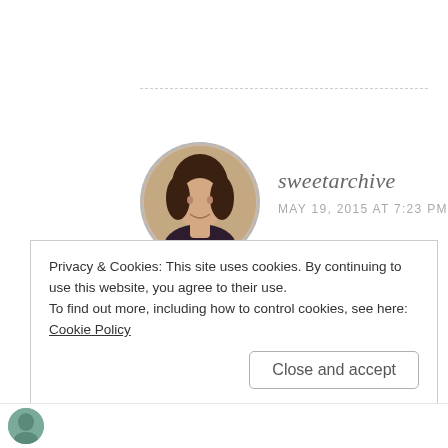[Figure (photo): Circular avatar photo of a woman with dark hair, shown from shoulders up, with a dashed circular border]
sweetarchive
MAY 19, 2015 AT 7:23 PM
Thanks, Brother!!!!
★ Liked by 1 person
Privacy & Cookies: This site uses cookies. By continuing to use this website, you agree to their use.
To find out more, including how to control cookies, see here: Cookie Policy
Close and accept